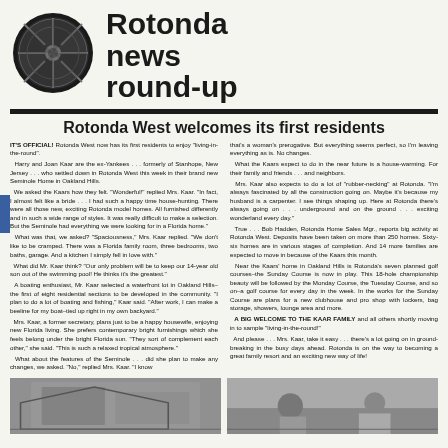[Figure (logo): Circular aerial/map logo of Rotonda wheel-spoke community plan, black and white]
Rotonda news round-up
Rotonda West welcomes its first residents
IT'S OFFICIAL! Rotonda West now has its first residents to enjoy "living-in-the-round".
  Harry and Joan Kaar are the ex-Yankees . . . formerly of Stanhope, New Jersey . . . who settled down in Rotonda West this week in their brand new Seminole Home in Oakland Hills.
  We asked the Kaars how they felt. "Wonderful!" replied Mrs. Kaar. "In fact, I almost felt like a bride . . . I had such a happy time house-hunting. There were all those new, exciting Rotonda model homes. All furnished differently and in such a wide range of styles. It was really difficult to make a selection. But the Seminole had everything we were looking for in a Florida home."
  What was that, we asked? "Spaciousness," Mrs. Kaar replied. "We don't like to be cramped. There was a Florida family room, three bedrooms, two baths, garage. And a kitchen I simply fell in love with."
  What did Mr. Kaar think? "Our only problem will be to keep our 14-year old son out of the swimming pool! He thinks it's the greatest."
  A boating enthusiast, Mr. Kaar selected a waterfront lot in Oakland Hills–the first of eight residential sections to be developed in the community. "I plan to do a lot of boating and fishing," Kaar said. "After work, I can make a beeline for my boat–tied up right in my own backyard."
  Mrs. Kaar, a former secretary, plans just to be a happy housewife, enjoying new Florida living. She prefers contemporary bright furnishings which she feels belong under the bright Florida sun. "They sort of complement each other," she said. "This is such a relaxed tropical atmosphere."
  What about the features of the Seminole . . . did she plan to make any changes, we asked. "No," replied Mrs. Kaar. "I know
that's a woman's prerogative. But everything seems perfect, so I'm leaving everything as is. No changes.
  What the Kaars expect to do in the near future is a house-warming. For their family and friends . . . and neighbors.
  Mrs. Kaar also expects to do a lot of "rubber-necking" at Rotonda. "I'm always fascinated by all the construction going on. Maybe it's because my husband is a carpenter. I see things shaping up. Here at Rotonda there's always going on . . . underground and on the ground . . . exciting wonderland every day."
  True . . . Bob Hadden, Rotonda Home Sales Mgr., reports big activity at Rotonda West. Deposits have been taken on more than 250 homes. Sixty-six homes are in various stages of completion. And 14 more families are expected to move in because of the Kaars this month.
  Near the Kaars' home in Oakland Hills is Rotonda's seven planned golf courses–the Sunday Course is now in play. This 18-hole championship beauty will be followed by the Monday Course, the Tuesday Course, and so on–a golf course for every day in the week. In the works for the Sunday Course are plans for a new clubhouse and pro shop with lockers, bag storage, showers, lounge area and more.
  A BIG WELCOME TO THE KAAR FAMILY and all others shortly moving in to sample "living-in-the-round!"
  And please . . . Mrs. Kaar, take it easy . . . there's a lot going on in ground-breaking in the busy days ahead. Rotonda is on the way to becoming a great family resort and an exciting new way of life!
[Figure (photo): Black and white photograph of a Rotonda home exterior]
[Figure (photo): Black and white photograph of people at Rotonda]